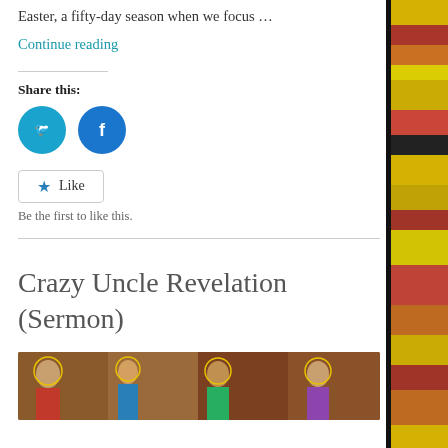Easter, a fifty-day season when we focus …
Continue reading
Share this:
[Figure (other): Twitter share button (blue circle with Twitter bird icon)]
[Figure (other): Facebook share button (blue circle with Facebook 'f' icon)]
Like
Be the first to like this.
Crazy Uncle Revelation (Sermon)
[Figure (illustration): Medieval religious artwork / painting strip, detail of figures]
[Figure (illustration): Decorative colorful stained-glass style right strip]